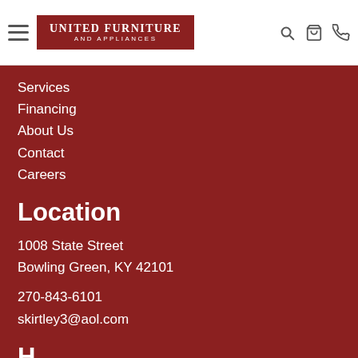[Figure (logo): United Furniture and Appliances logo — dark red rectangle with white serif text]
Services
Financing
About Us
Contact
Careers
Location
1008 State Street
Bowling Green, KY 42101
270-843-6101
skirtley3@aol.com
H